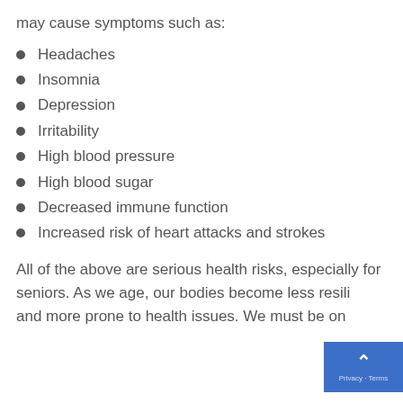may cause symptoms such as:
Headaches
Insomnia
Depression
Irritability
High blood pressure
High blood sugar
Decreased immune function
Increased risk of heart attacks and strokes
All of the above are serious health risks, especially for seniors. As we age, our bodies become less resilient and more prone to health issues. We must be on...